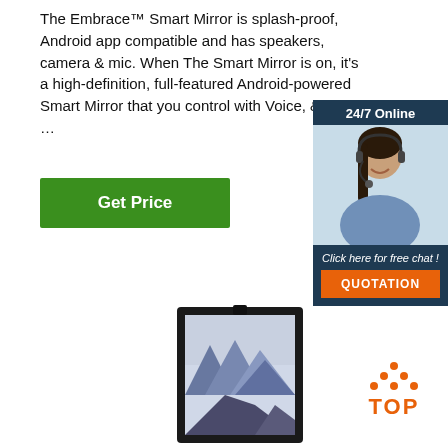The Embrace™ Smart Mirror is splash-proof, Android app compatible and has speakers, camera & mic. When The Smart Mirror is on, it's a high-definition, full-featured Android-powered Smart Mirror that you control with Voice, & Touch. …
[Figure (other): Green 'Get Price' button]
[Figure (infographic): 24/7 Online chat widget with a female customer service agent wearing a headset, 'Click here for free chat!' text, and an orange QUOTATION button]
[Figure (photo): Smart mirror display device (portrait orientation, black frame) showing a mountain landscape on screen]
[Figure (logo): TOP logo with orange dots forming a triangle above the word TOP in orange bold letters]